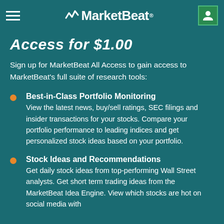MarketBeat
Access for $1.00
Sign up for MarketBeat All Access to gain access to MarketBeat's full suite of research tools:
Best-in-Class Portfolio Monitoring
View the latest news, buy/sell ratings, SEC filings and insider transactions for your stocks. Compare your portfolio performance to leading indices and get personalized stock ideas based on your portfolio.
Stock Ideas and Recommendations
Get daily stock ideas from top-performing Wall Street analysts. Get short term trading ideas from the MarketBeat Idea Engine. View which stocks are hot on social media with